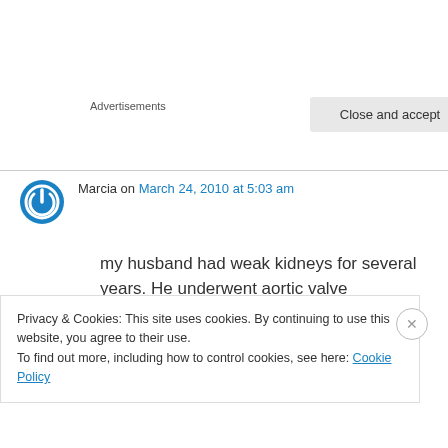Advertisements
Marcia on March 24, 2010 at 5:03 am
my husband had weak kidneys for several years. He underwent aortic valve replacement surgery in february and the kidneys got much worse. he is now on dialysis. Many people keep talking that
Privacy & Cookies: This site uses cookies. By continuing to use this website, you agree to their use.
To find out more, including how to control cookies, see here: Cookie Policy
Close and accept